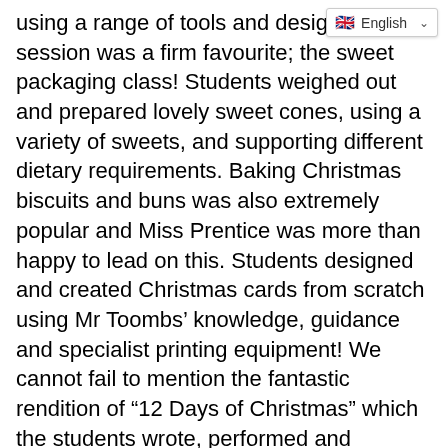using a range of tools and designs. One session was a firm favourite; the sweet packaging class! Students weighed out and prepared lovely sweet cones, using a variety of sweets, and supporting different dietary requirements. Baking Christmas biscuits and buns was also extremely popular and Miss Prentice was more than happy to lead on this. Students designed and created Christmas cards from scratch using Mr Toombs' knowledge, guidance and specialist printing equipment! We cannot fail to mention the fantastic rendition of “12 Days of Christmas” which the students wrote, performed and recorded with Mr Bromwich – we had this playing on loop all day! There were some outstanding entries in the Yule Log competition and, across the other side of school, Mr Rimoldi held a variety of sports related games and competitions and really got our students’ temperatures soaring!